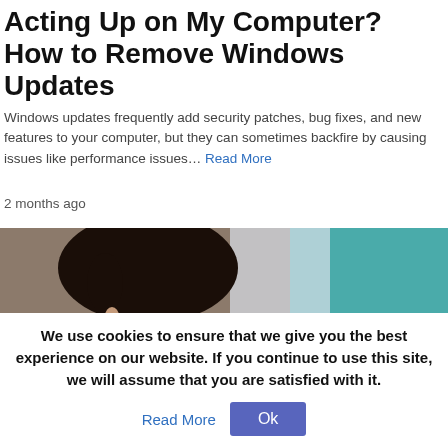Acting Up on My Computer? How to Remove Windows Updates
Windows updates frequently add security patches, bug fixes, and new features to your computer, but they can sometimes backfire by causing issues like performance issues… Read More
2 months ago
[Figure (photo): Woman viewed from behind looking at a laptop screen showing a video call with multiple participants, teal wall in background]
We use cookies to ensure that we give you the best experience on our website. If you continue to use this site, we will assume that you are satisfied with it.
Read More  Ok